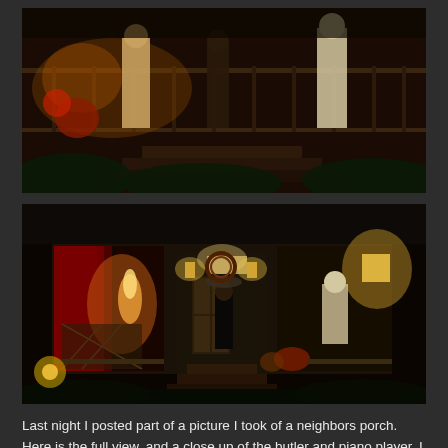[Figure (photo): Night-time photo of a decorated porch with people in period costume, warm amber lighting, plants and railings visible. Close-up view of porch scene.]
[Figure (photo): Full night-time view of a house porch elaborately decorated for Halloween or a period theme. Red curtains on left, a butler figure in center doorway, a woman in Victorian dress on right, warm glowing lights throughout, steps leading up to the porch.]
Last night I posted part of a picture I took of a neighbors porch. Here is the full view, and a close up of the butler and piano player. I love looking at this porch. They even have gargoyles on the outside of the steps.